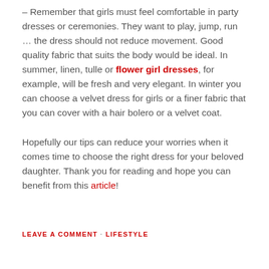– Remember that girls must feel comfortable in party dresses or ceremonies. They want to play, jump, run … the dress should not reduce movement. Good quality fabric that suits the body would be ideal. In summer, linen, tulle or flower girl dresses, for example, will be fresh and very elegant. In winter you can choose a velvet dress for girls or a finer fabric that you can cover with a hair bolero or a velvet coat.
Hopefully our tips can reduce your worries when it comes time to choose the right dress for your beloved daughter. Thank you for reading and hope you can benefit from this article!
LEAVE A COMMENT · LIFESTYLE